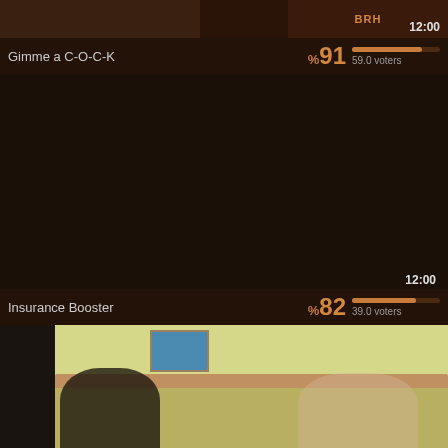[Figure (screenshot): Thumbnail strip for video entry, dark reddish-brown background with partial image on left and right side]
12:00
Gimme a C-O-C-K
%91   59.0 voters
[Figure (screenshot): Dark area representing second video listing area]
12:00
Insurance Booster
%82   39.0 voters
[Figure (photo): Bedroom scene photo with two figures on a bed, yellow-green walls, wooden headboard, picture frame on wall]